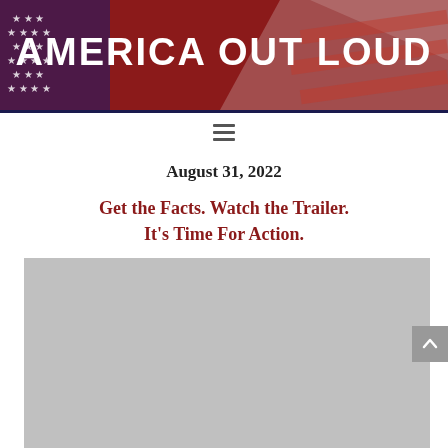[Figure (logo): America Out Loud website header banner with red background, American flag imagery (stars and stripes), and white bold uppercase text reading AMERICA OUT LOUD]
≡ (hamburger menu icon navigation bar)
August 31, 2022
Get the Facts. Watch the Trailer. It's Time For Action.
[Figure (screenshot): Gray placeholder rectangle representing an embedded video player]